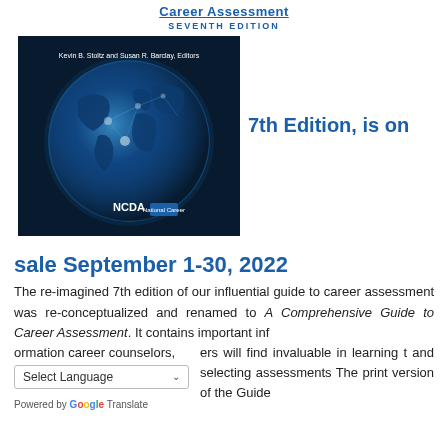Career Assessment
SEVENTH EDITION
[Figure (photo): Book cover for A Comprehensive Guide to Career Assessment, Seventh Edition, featuring a dark blue globe with network connections and the NCDA logo. Editors: Kevin B. Stoltz and Susan R. Barclay.]
7th Edition, is on sale September 1-30, 2022
The re-imagined 7th edition of our influential guide to career assessment was re-conceptualized and renamed to A Comprehensive Guide to Career Assessment. It contains important information career counselors, ers will find invaluable in learning t and selecting assessments The print version of the Guide